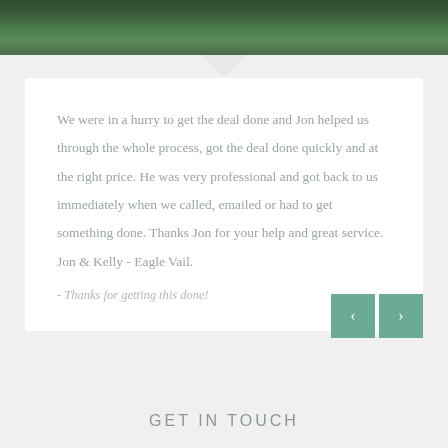[Figure (photo): Forest/trees photo at the top of the page, dark green foliage]
We were in a hurry to get the deal done and Jon helped us through the whole process, got the deal done quickly and at the right price. He was very professional and got back to us immediately when we called, emailed or had to get something done. Thanks Jon for your help and great service. Jon & Kelly - Eagle Vail.
- Thanks for getting this done!
GET IN TOUCH